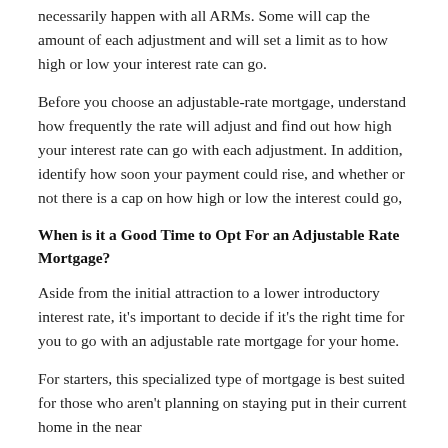necessarily happen with all ARMs. Some will cap the amount of each adjustment and will set a limit as to how high or low your interest rate can go.
Before you choose an adjustable-rate mortgage, understand how frequently the rate will adjust and find out how high your interest rate can go with each adjustment. In addition, identify how soon your payment could rise, and whether or not there is a cap on how high or low the interest could go,
When is it a Good Time to Opt For an Adjustable Rate Mortgage?
Aside from the initial attraction to a lower introductory interest rate, it's important to decide if it's the right time for you to go with an adjustable rate mortgage for your home.
For starters, this specialized type of mortgage is best suited for those who aren't planning on staying put in their current home in the near